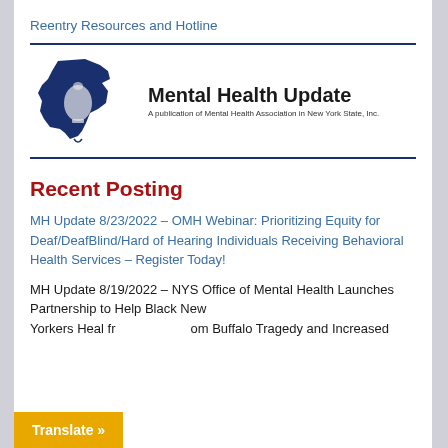Reentry Resources and Hotline
[Figure (logo): MHANYS Mental Health Update logo — New York State outline in dark blue with MHANYS text, beside bold 'Mental Health Update' title and subtitle 'A publication of Mental Health Association in New York State, Inc.']
Recent Posting
MH Update 8/23/2022 – OMH Webinar: Prioritizing Equity for Deaf/DeafBlind/Hard of Hearing Individuals Receiving Behavioral Health Services – Register Today!
MH Update 8/19/2022 – NYS Office of Mental Health Launches Partnership to Help Black New Yorkers Heal from Buffalo Tragedy and Increased